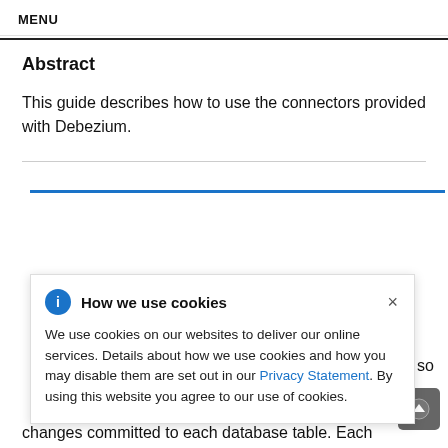MENU
Abstract
This guide describes how to use the connectors provided with Debezium.
[Figure (other): Cookie consent popup dialog with title 'How we use cookies', info icon, close button (×), and body text: 'We use cookies on our websites to deliver our online services. Details about how we use cookies and how you may disable them are set out in our Privacy Statement. By using this website you agree to our use of cookies.']
changes committed to each database table. Each